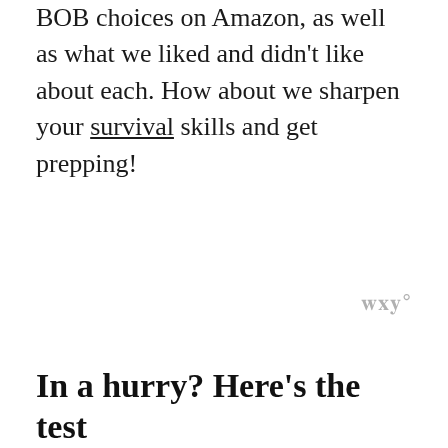BOB choices on Amazon, as well as what we liked and didn't like about each. How about we sharpen your survival skills and get prepping!
W°
In a hurry? Here's the test